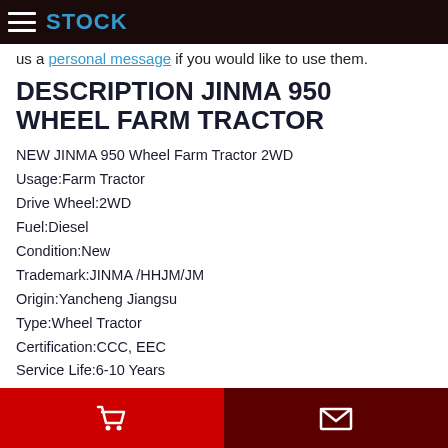STOCK
us a personal message if you would like to use them.
DESCRIPTION JINMA 950 WHEEL FARM TRACTOR
NEW JINMA 950 Wheel Farm Tractor 2WD
Usage:Farm Tractor
Drive Wheel:2WD
Fuel:Diesel
Condition:New
Trademark:JINMA /HHJM/JM
Origin:Yancheng Jiangsu
Type:Wheel Tractor
Certification:CCC, EEC
Service Life:6-10 Years
Color:Red/ Customizable
Horse-Power:95HP